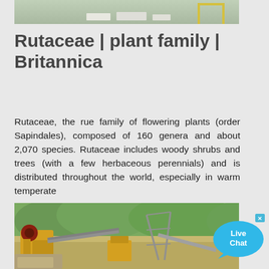[Figure (photo): Top portion of an image showing what appears to be an outdoor scene with some equipment or structures, partially cropped at top of page.]
Rutaceae | plant family | Britannica
Rutaceae, the rue family of flowering plants (order Sapindales), composed of 160 genera and about 2,070 species. Rutaceae includes woody shrubs and trees (with a few herbaceous perennials) and is distributed throughout the world, especially in warm temperate
[Figure (photo): Photograph of industrial mining or quarrying equipment including yellow machinery, conveyor belts, and metal frame structures in an outdoor rocky/forested setting.]